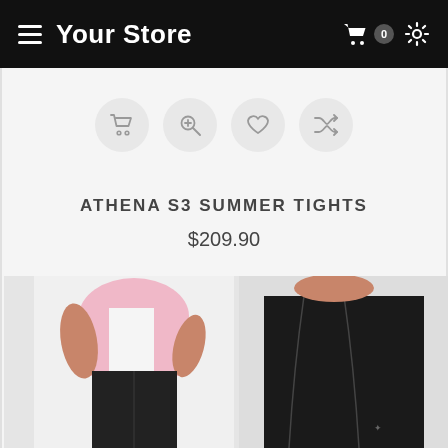Your Store
[Figure (screenshot): E-commerce product page screenshot showing action icon buttons (cart, zoom, wishlist, shuffle), product title 'ATHENA S3 SUMMER TIGHTS', price '$209.90', and a product photo of athletic tights]
ATHENA S3 SUMMER TIGHTS
$209.90